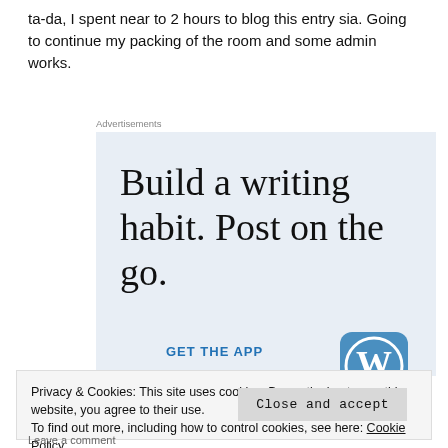ta-da, I spent near to 2 hours to blog this entry sia. Going to continue my packing of the room and some admin works.
[Figure (screenshot): WordPress advertisement banner with light blue background. Text reads 'Build a writing habit. Post on the go.' with a 'GET THE APP' button and WordPress logo.]
Privacy & Cookies: This site uses cookies. By continuing to use this website, you agree to their use.
To find out more, including how to control cookies, see here: Cookie Policy
Close and accept
Leave a comment